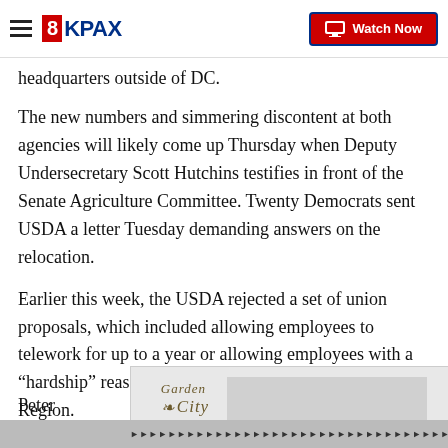8KPAX | Watch Now
headquarters outside of DC.
The new numbers and simmering discontent at both agencies will likely come up Thursday when Deputy Undersecretary Scott Hutchins testifies in front of the Senate Agriculture Committee. Twenty Democrats sent USDA a letter Tuesday demanding answers on the relocation.
Earlier this week, the USDA rejected a set of union proposals, which included allowing employees to telework for up to a year or allowing employees with a “hardship” reason to remain in the National Capital Region.
Peter
[Figure (logo): Garden City Granite advertisement logo overlay]